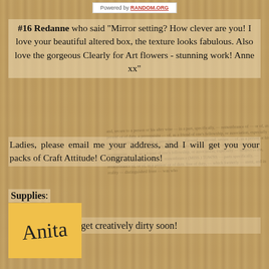Powered by RANDOM.ORG
#16 Redanne who said "Mirror setting? How clever are you! I love your beautiful altered box, the texture looks fabulous. Also love the gorgeous Clearly for Art flowers - stunning work! Anne xx"
Ladies, please email me your address, and I will get you your packs of Craft Attitude! Congratulations!
Supplies:
I hope your hands get creatively dirty soon!
[Figure (illustration): Yellow square with cursive signature reading 'Anita']